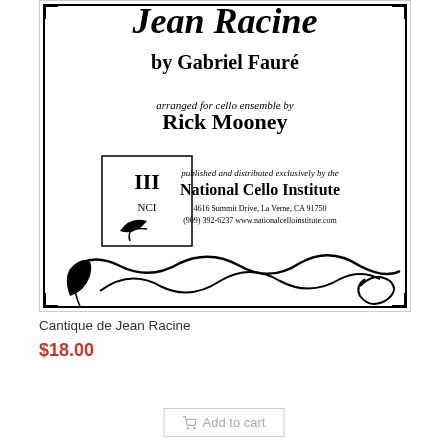[Figure (illustration): Sheet music cover for 'Cantique de Jean Racine' by Gabriel Fauré, arranged for cello ensemble by Rick Mooney. Published and distributed exclusively by the National Cello Institute. Features decorative border with floral/ribbon design and publisher's logo.]
Cantique de Jean Racine
$18.00
Add to cart